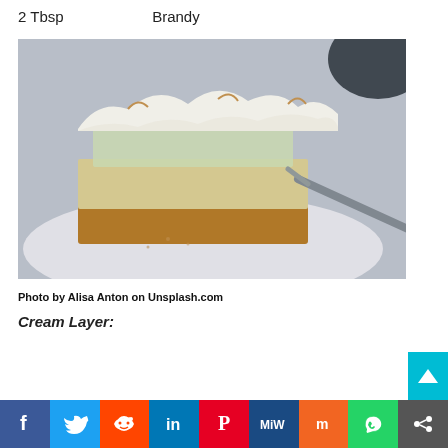2 Tbsp    Brandy
[Figure (photo): A slice of meringue pie on a white plate with a fork, photographed on a light grey background. The pie has a golden crust, cream filling, and browned meringue topping.]
Photo by Alisa Anton on Unsplash.com
Cream Layer:
f  Twitter  Reddit  in  Pinterest  MiW  Mix  WhatsApp  Share